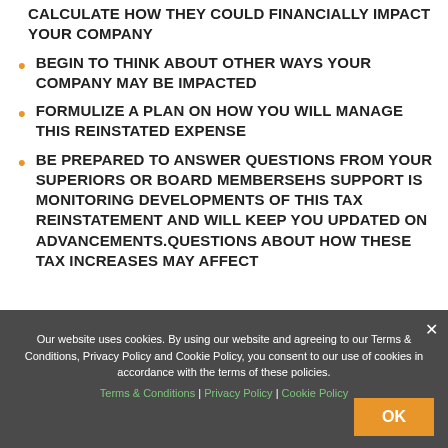CALCULATE HOW THEY COULD FINANCIALLY IMPACT YOUR COMPANY
BEGIN TO THINK ABOUT OTHER WAYS YOUR COMPANY MAY BE IMPACTED
FORMULIZE A PLAN ON HOW YOU WILL MANAGE THIS REINSTATED EXPENSE
BE PREPARED TO ANSWER QUESTIONS FROM YOUR SUPERIORS OR BOARD MEMBERSEHS SUPPORT IS MONITORING DEVELOPMENTS OF THIS TAX REINSTATEMENT AND WILL KEEP YOU UPDATED ON ADVANCEMENTS.QUESTIONS ABOUT HOW THESE TAX INCREASES MAY AFFECT
Our website uses cookies. By using our website and agreeing to our Terms & Conditions, Privacy Policy and Cookie Policy, you consent to our use of cookies in accordance with the terms of these policies.
Terms & Conditions | Privacy Policy | Cookie Policy